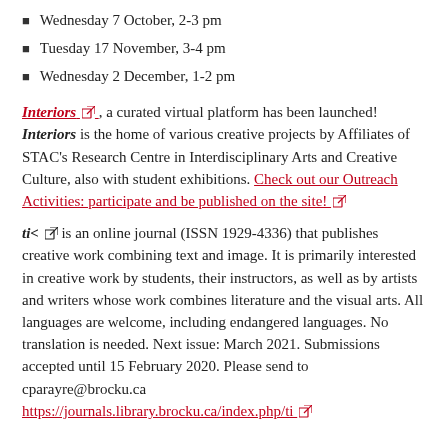Wednesday 7 October, 2-3 pm
Tuesday 17 November, 3-4 pm
Wednesday 2 December, 1-2 pm
Interiors [external link], a curated virtual platform has been launched! Interiors is the home of various creative projects by Affiliates of STAC's Research Centre in Interdisciplinary Arts and Creative Culture, also with student exhibitions. Check out our Outreach Activities: participate and be published on the site! [external link]
ti< [external link] is an online journal (ISSN 1929-4336) that publishes creative work combining text and image. It is primarily interested in creative work by students, their instructors, as well as by artists and writers whose work combines literature and the visual arts. All languages are welcome, including endangered languages. No translation is needed. Next issue: March 2021. Submissions accepted until 15 February 2020. Please send to cparayre@brocku.ca
https://journals.library.brocku.ca/index.php/ti [external link]